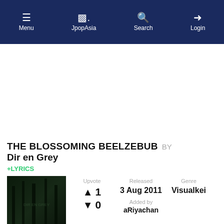Menu | JpopAsia | Search | Login
[Figure (screenshot): White advertisement area placeholder]
THE BLOSSOMING BEELZEBUB BY Dir en Grey
+LYRICS
[Figure (photo): Dark forest album art thumbnail]
Upvote ↑ 1 ↓ 0
Released 3 Aug 2011 Added by aRiyachan
Genre Visualkei